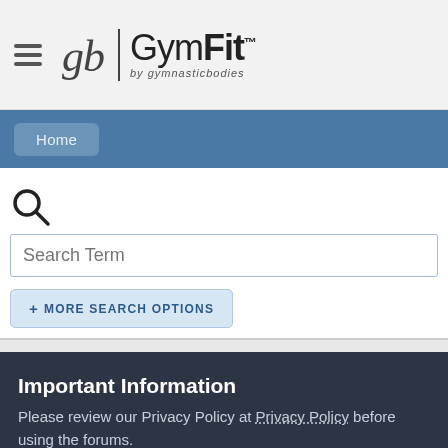[Figure (logo): GymFit TV by GymnasticBodies logo with hamburger menu icon]
Home
[Figure (other): Search icon (magnifying glass)]
Search Term
+ MORE SEARCH OPTIONS
Important Information
Please review our Privacy Policy at Privacy Policy before using the forums.
✓ I ACCEPT